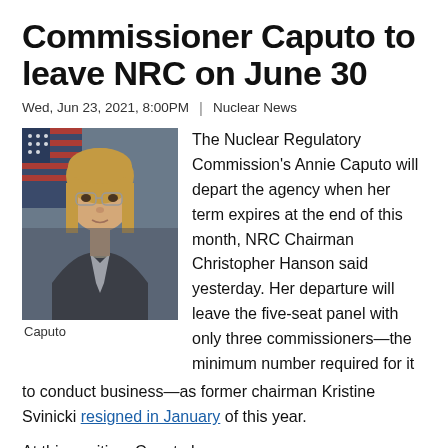Commissioner Caputo to leave NRC on June 30
Wed, Jun 23, 2021, 8:00PM  |  Nuclear News
[Figure (photo): Official portrait photo of Annie Caputo with American flag in background]
Caputo
The Nuclear Regulatory Commission's Annie Caputo will depart the agency when her term expires at the end of this month, NRC Chairman Christopher Hanson said yesterday. Her departure will leave the five-seat panel with only three commissioners—the minimum number required for it to conduct business—as former chairman Kristine Svinicki resigned in January of this year.
At this position, Caputo has...